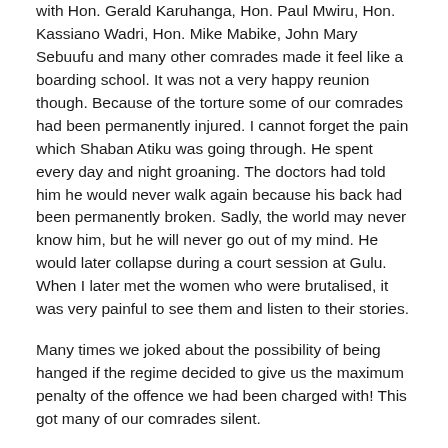with Hon. Gerald Karuhanga, Hon. Paul Mwiru, Hon. Kassiano Wadri, Hon. Mike Mabike, John Mary Sebuufu and many other comrades made it feel like a boarding school. It was not a very happy reunion though. Because of the torture some of our comrades had been permanently injured. I cannot forget the pain which Shaban Atiku was going through. He spent every day and night groaning. The doctors had told him he would never walk again because his back had been permanently broken. Sadly, the world may never know him, but he will never go out of my mind. He would later collapse during a court session at Gulu. When I later met the women who were brutalised, it was very painful to see them and listen to their stories.
Many times we joked about the possibility of being hanged if the regime decided to give us the maximum penalty of the offence we had been charged with! This got many of our comrades silent.